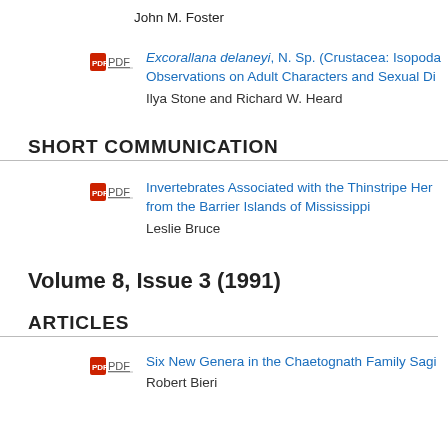John M. Foster
Excorallana delaneyi, N. Sp. (Crustacea: Isopoda... Observations on Adult Characters and Sexual Di...
Ilya Stone and Richard W. Heard
SHORT COMMUNICATION
Invertebrates Associated with the Thinstripe Her... from the Barrier Islands of Mississippi
Leslie Bruce
Volume 8, Issue 3 (1991)
ARTICLES
Six New Genera in the Chaetognath Family Sagi...
Robert Bieri